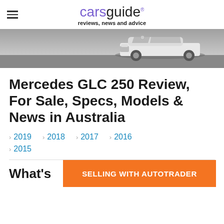carsguide reviews, news and advice
[Figure (photo): A white Mercedes GLC 250 SUV shown from the front-right angle, partially cropped, on a grey textured surface background.]
Mercedes GLC 250 Review, For Sale, Specs, Models & News in Australia
2019
2018
2017
2016
2015
What's
SELLING WITH AUTOTRADER